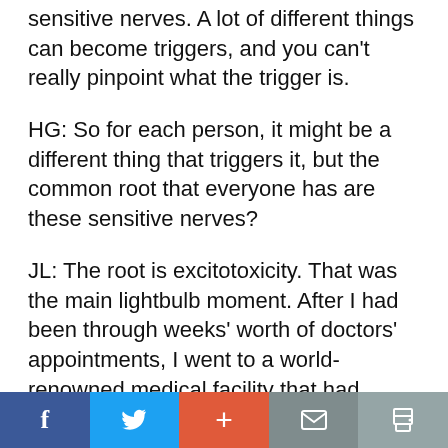sensitive nerves. A lot of different things can become triggers, and you can't really pinpoint what the trigger is.
HG: So for each person, it might be a different thing that triggers it, but the common root that everyone has are these sensitive nerves?
JL: The root is excitotoxicity. That was the main lightbulb moment. After I had been through weeks' worth of doctors' appointments, I went to a world-renowned medical facility that had eight-hour doctor appointments for fifteen hundred dollars out
f  t  +  mail  print